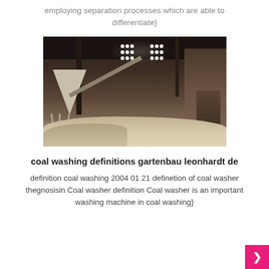employing separation processes which are able to differentiate}
[Figure (photo): Industrial interior of a coal washing facility showing machinery, conveyors, hoppers, bright work lights, and coal/material piles on the floor]
coal washing definitions gartenbau leonhardt de
definition coal washing 2004 01 21 definetion of coal washer thegnosisin Coal washer definition Coal washer is an important washing machine in coal washing}